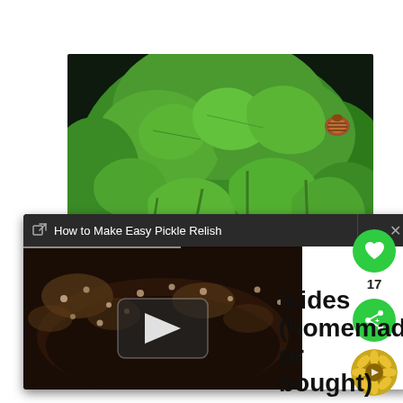[Figure (photo): Close-up photo of green potato plant leaves with Colorado potato beetles (brown striped beetles) clinging to stems and leaves, dark background]
[Figure (screenshot): Video player card overlay with dark header showing title 'How to Make Easy Pickle Relish', an X close button, and a video thumbnail showing dark cooking/food content with a play button in the center]
17
icides (homemade or bought)